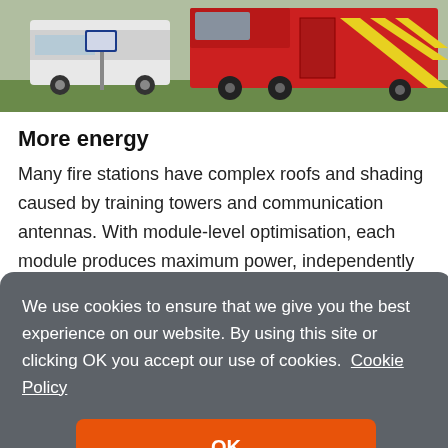[Figure (photo): Fire trucks and emergency vehicles parked at a fire station, viewed from behind/side angle. Red fire engine with yellow chevron markings visible on right, white vehicle on left, against a green grass background.]
More energy
Many fire stations have complex roofs and shading caused by training towers and communication antennas. With module-level optimisation, each module produces maximum power, independently of other modules in the
We use cookies to ensure that we give you the best experience on our website. By using this site or clicking OK you accept our use of cookies.  Cookie Policy
OK
maximum self-consumption while complying with grid